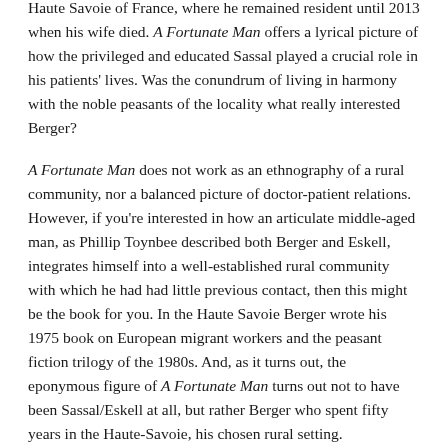Haute Savoie of France, where he remained resident until 2013 when his wife died. A Fortunate Man offers a lyrical picture of how the privileged and educated Sassal played a crucial role in his patients' lives. Was the conundrum of living in harmony with the noble peasants of the locality what really interested Berger?
A Fortunate Man does not work as an ethnography of a rural community, nor a balanced picture of doctor-patient relations. However, if you're interested in how an articulate middle-aged man, as Phillip Toynbee described both Berger and Eskell, integrates himself into a well-established rural community with which he had had little previous contact, then this might be the book for you. In the Haute Savoie Berger wrote his 1975 book on European migrant workers and the peasant fiction trilogy of the 1980s. And, as it turns out, the eponymous figure of A Fortunate Man turns out not to have been Sassal/Eskell at all, but rather Berger who spent fifty years in the Haute-Savoie, his chosen rural setting.